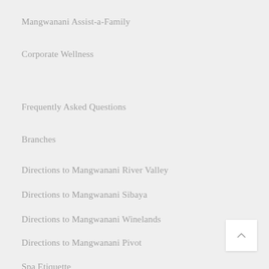Mangwanani Assist-a-Family
Corporate Wellness
Frequently Asked Questions
Branches
Directions to Mangwanani River Valley
Directions to Mangwanani Sibaya
Directions to Mangwanani Winelands
Directions to Mangwanani Pivot
Spa Etiquette
Check List
Menu